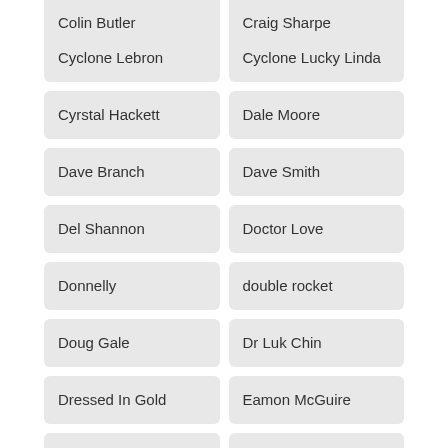Colin Butler
Craig Sharpe
Cyclone Lebron
Cyclone Lucky Linda
Cyrstal Hackett
Dale Moore
Dave Branch
Dave Smith
Del Shannon
Doctor Love
Donnelly
double rocket
Doug Gale
Dr Luk Chin
Dressed In Gold
Eamon McGuire
Elegant Peak
Ellie Rowden
Evan Wilson
Events